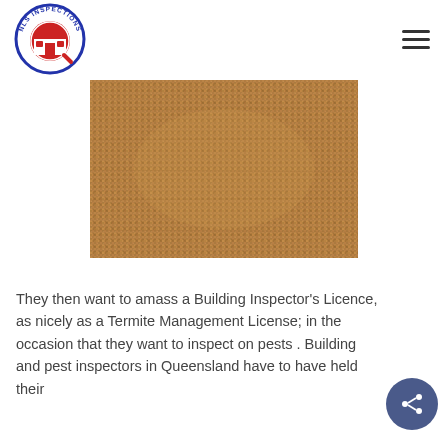[Figure (logo): NLS Inspections circular logo with house icon]
[Figure (photo): Close-up photograph of woven burlap or hessian fabric texture in brown tones]
They then want to amass a Building Inspector's Licence, as nicely as a Termite Management License; in the occasion that they want to inspect on pests . Building and pest inspectors in Queensland have to have held their